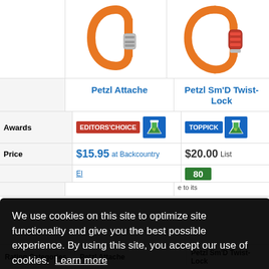[Figure (photo): Orange carabiner - Petzl Attache]
[Figure (photo): Orange carabiner with red lock - Petzl Sm'D Twist-Lock]
|  | Petzl Attache | Petzl Sm'D Twist-Lock |
| --- | --- | --- |
| Awards | EDITORS' CHOICE [badge] | TOP PICK [badge] |
| Price | $15.95 at Backcountry | $20.00 List |
| Score | [link] | 80 [score box] |
|  | ...e to its ...be and very ...twist-lockin |  |
We use cookies on this site to optimize site functionality and give you the best possible experience. By using this site, you accept our use of cookies. Learn more
| Rating Categories | Petzl Attache | Petzl Sm'D Twist-Lock |
| --- | --- | --- |